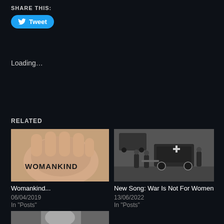SHARE THIS:
[Figure (other): Twitter Tweet button with bird icon]
Loading...
RELATED
[Figure (photo): Photo of a hand with 'WOMANKIND' written on the palm]
Womankind...
06/04/2019
In "Posts"
[Figure (photo): Black and white historical photo of Red Cross ambulance with women in WWI era]
New Song: War Is Not For Women
13/06/2022
In "Posts"